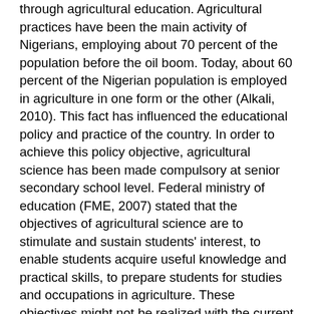through agricultural education. Agricultural practices have been the main activity of Nigerians, employing about 70 percent of the population before the oil boom. Today, about 60 percent of the Nigerian population is employed in agriculture in one form or the other (Alkali, 2010). This fact has influenced the educational policy and practice of the country. In order to achieve this policy objective, agricultural science has been made compulsory at senior secondary school level. Federal ministry of education (FME, 2007) stated that the objectives of agricultural science are to stimulate and sustain students' interest, to enable students acquire useful knowledge and practical skills, to prepare students for studies and occupations in agriculture. These objectives might not be realized with the current traditional approach of teaching and learning in operation. Gbore (2013) further stretched that teachers' role in the preparation of students to succeed in examinations cannot be undermined. There has been significant noticeable difference in the proportion of male to female science teachers in the country, Agricultural Science in particular. In Ekiti state public secondary schools for instance, statistics show that male